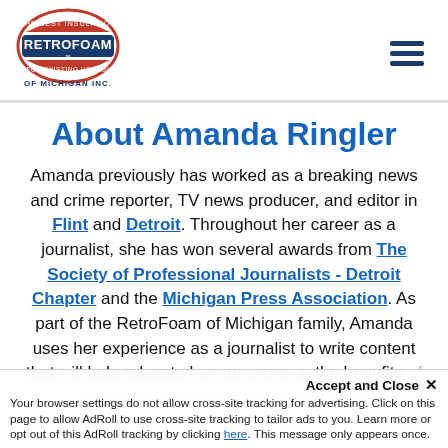[Figure (logo): RetroFoam of Michigan Inc. logo — circular badge with red and blue colors, text 'RetroFoam of Michigan Inc.']
About Amanda Ringler
Amanda previously has worked as a breaking news and crime reporter, TV news producer, and editor in Flint and Detroit. Throughout her career as a journalist, she has won several awards from The Society of Professional Journalists - Detroit Chapter and the Michigan Press Association. As part of the RetroFoam of Michigan family, Amanda uses her experience as a journalist to write content that will help educate homeowners on the benefits of foam insulation. When Amanda isn't w...
Accept and Close ×
Your browser settings do not allow cross-site tracking for advertising. Click on this page to allow AdRoll to use cross-site tracking to tailor ads to you. Learn more or opt out of this AdRoll tracking by clicking here. This message only appears once.